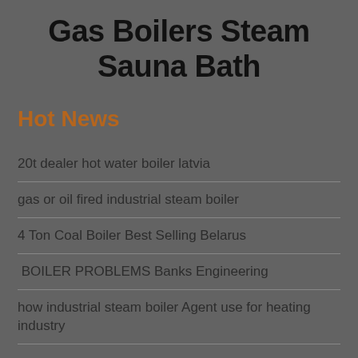Gas Boilers Steam Sauna Bath
Hot News
20t dealer hot water boiler latvia
gas or oil fired industrial steam boiler
4 Ton Coal Boiler Best Selling Belarus
BOILER PROBLEMS Banks Engineering
how industrial steam boiler Agent use for heating industry